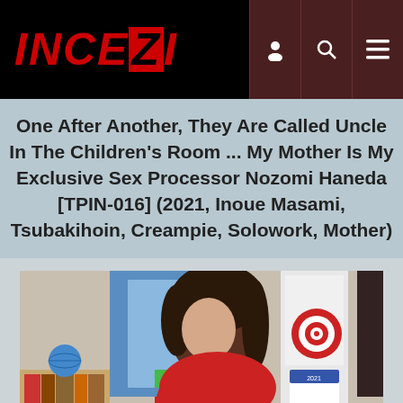INCEZI [navigation logo with user, search, menu icons]
One After Another, They Are Called Uncle In The Children's Room ... My Mother Is My Exclusive Sex Processor Nozomi Haneda [TPIN-016] (2021, Inoue Masami, Tsubakihoin, Creampie, Solowork, Mother)
[Figure (photo): A woman with dark hair wearing a red top in what appears to be a children's bedroom with books, a globe, and a calendar on the wall visible in the background.]